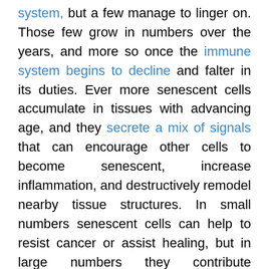system, but a few manage to linger on. Those few grow in numbers over the years, and more so once the immune system begins to decline and falter in its duties. Ever more senescent cells accumulate in tissues with advancing age, and they secrete a mix of signals that can encourage other cells to become senescent, increase inflammation, and destructively remodel nearby tissue structures. In small numbers senescent cells can help to resist cancer or assist healing, but in large numbers they contribute meaningfully to all of the symptoms and conditions of old age. They are one of the root causes of aging.
Building therapies to destroy senescent cells is the best, easiest, and most direct response. If carried out sufficiently well it would remove this contribution to the aging process entirely, and fortunately the cancer research community has been working on targeted cell destruction for many years now: the technologies exist and just need to be